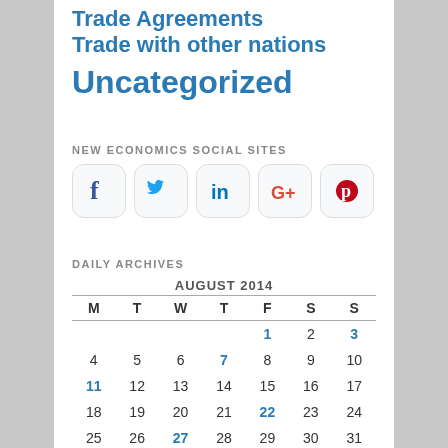Trade Agreements
Trade with other nations
Uncategorized
NEW ECONOMICS SOCIAL SITES
[Figure (infographic): Social media icons: Facebook, Twitter, LinkedIn, Google+, Pinterest]
DAILY ARCHIVES
| M | T | W | T | F | S | S |
| --- | --- | --- | --- | --- | --- | --- |
|  |  |  |  | 1 | 2 | 3 |
| 4 | 5 | 6 | 7 | 8 | 9 | 10 |
| 11 | 12 | 13 | 14 | 15 | 16 | 17 |
| 18 | 19 | 20 | 21 | 22 | 23 | 24 |
| 25 | 26 | 27 | 28 | 29 | 30 | 31 |
« Jul   Sep »